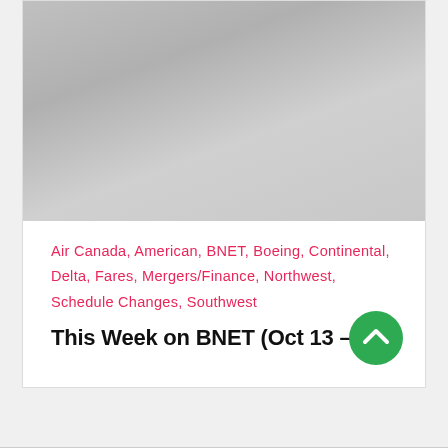[Figure (photo): Gray gradient image area at top of card]
Air Canada, American, BNET, Boeing, Continental, Delta, Fares, Mergers/Finance, Northwest, Schedule Changes, Southwest
This Week on BNET (Oct 13 – 17)